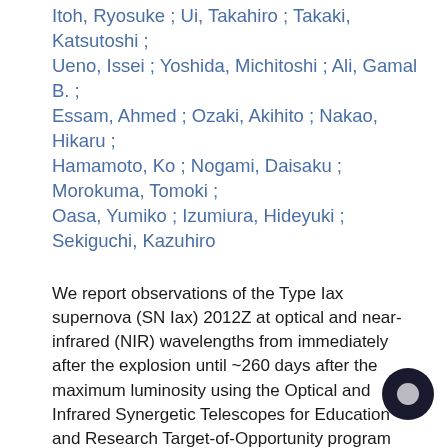Itoh, Ryosuke; Ui, Takahiro; Takaki, Katsutoshi; Ueno, Issei; Yoshida, Michitoshi; Ali, Gamal B.; Essam, Ahmed; Ozaki, Akihito; Nakao, Hikaru; Hamamoto, Ko; Nogami, Daisaku; Morokuma, Tomoki; Oasa, Yumiko; Izumiura, Hideyuki; Sekiguchi, Kazuhiro
We report observations of the Type Iax supernova (SN Iax) 2012Z at optical and near-infrared (NIR) wavelengths from immediately after the explosion until ~260 days after the maximum luminosity using the Optical and Infrared Synergetic Telescopes for Education and Research Target-of-Opportunity program and the Subaru Telescope. We found that the NIR light curve evolutions and color evolutions are similar to those of SNe Iax 2005hk and 2008ha. The NIR absolute magnitudes ({M}J~ -18.1 mag and {M}H~ -18.3 mag) and the rate of decline of the light curve (Δ m15(B) =\1.6+/- 0.1 mag) are very similar to those of SN 2005hk ({M}J~ -17.7 mag, {M}H~ -18.0 mag, and Δ m15(B) ~